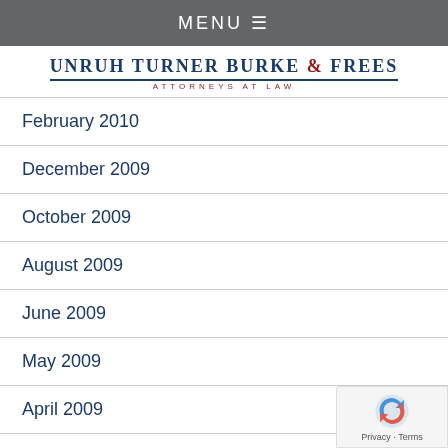MENU ☰
[Figure (logo): Unruh Turner Burke & Frees – Attorneys at Law law firm logo]
February 2010
December 2009
October 2009
August 2009
June 2009
May 2009
April 2009
March 2009
January 2009